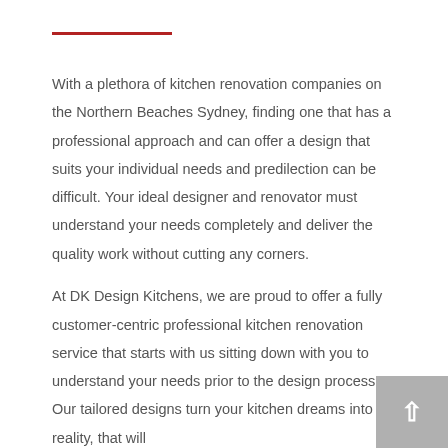With a plethora of kitchen renovation companies on the Northern Beaches Sydney, finding one that has a professional approach and can offer a design that suits your individual needs and predilection can be difficult. Your ideal designer and renovator must understand your needs completely and deliver the quality work without cutting any corners.

At DK Design Kitchens, we are proud to offer a fully customer-centric professional kitchen renovation service that starts with us sitting down with you to understand your needs prior to the design process. Our tailored designs turn your kitchen dreams into a reality, that will